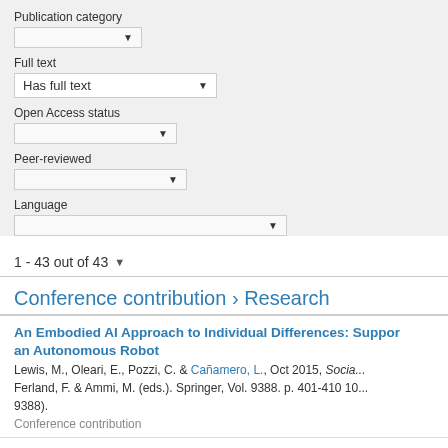Publication category
Full text
Has full text
Open Access status
Peer-reviewed
Language
1 - 43 out of 43
Conference contribution › Research
An Embodied AI Approach to Individual Differences: Support an Autonomous Robot
Lewis, M., Oleari, E., Pozzi, C. & Cañamero, L., Oct 2015, Socia... Ferland, F. & Ammi, M. (eds.). Springer, Vol. 9388. p. 401-410 10... 9388).
Conference contribution
An evaluation of break-the-glass access control model for m...
Maw, H. A., Xiao, H., Christianson, B. & Malcolm, J., Jan 2015, P... Networking, Applications and Services: (Healthcom). IEEE, p. 13...
Conference contribution
Analysis of DoS Attacks at MAC Layer in Mobile Adhoc Net...